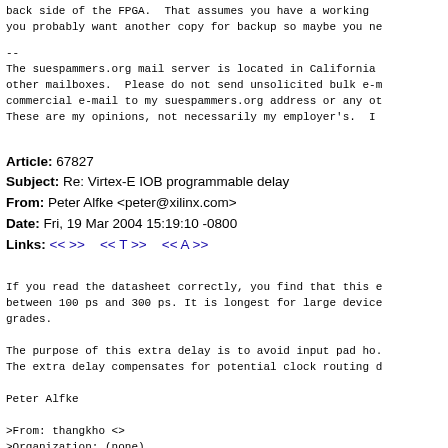back side of the FPGA.  That assumes you have a working c
you probably want another copy for backup so maybe you ne
--
The suespammers.org mail server is located in California
other mailboxes.  Please do not send unsolicited bulk e-m
commercial e-mail to my suespammers.org address or any ot
These are my opinions, not necessarily my employer's.  I
Article: 67827
Subject: Re: Virtex-E IOB programmable delay
From: Peter Alfke <peter@xilinx.com>
Date: Fri, 19 Mar 2004 15:19:10 -0800
Links: << >>   << T >>   << A >>
If you read the datasheet correctly, you find that this e
between 100 ps and 300 ps. It is longest for large device
grades.

The purpose of this extra delay is to avoid input pad ho.
The extra delay compensates for potential clock routing d

Peter Alfke

>From: thangkho <>
>Organization: (none)
>Newsgroups: comp.arch.fpga